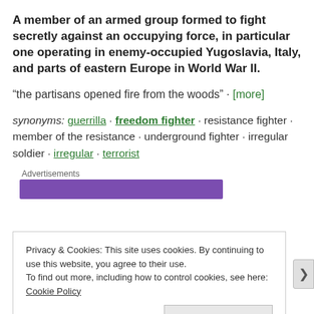A member of an armed group formed to fight secretly against an occupying force, in particular one operating in enemy-occupied Yugoslavia, Italy, and parts of eastern Europe in World War II.
“the partisans opened fire from the woods” · [more]
synonyms: guerrilla · freedom fighter · resistance fighter · member of the resistance · underground fighter · irregular soldier · irregular · terrorist
Advertisements
Privacy & Cookies: This site uses cookies. By continuing to use this website, you agree to their use.
To find out more, including how to control cookies, see here: Cookie Policy
Close and accept